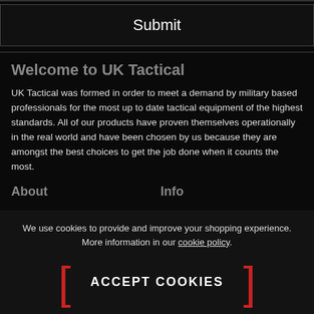[Figure (screenshot): Submit button UI element with dark background and border]
Welcome to UK Tactical
UK Tactical was formed in order to meet a demand by military based professionals for the most up to date tactical equipment of the highest standards. All of our products have proven themselves operationally in the real world and have been chosen by us because they are amongst the best choices to get the job done when it counts the most.
About
Info
We use cookies to provide and improve your shopping experience. More information in our cookie policy.
ACCEPT COOKIES